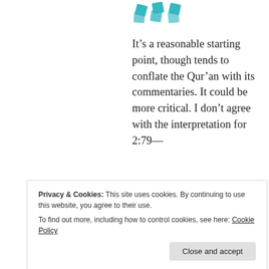[Figure (logo): Teal/cyan decorative logo or icon in the upper left area]
It’s a reasonable starting point, though tends to conflate the Qur’an with its commentaries. It could be more critical. I don’t agree with the interpretation for 2:79—
“This verse does not give a name to the book Jews wrote with their hands. It is not clear whether Jews wrote a
Privacy & Cookies: This site uses cookies. By continuing to use this website, you agree to their use.
To find out more, including how to control cookies, see here: Cookie Policy
wrong comments.